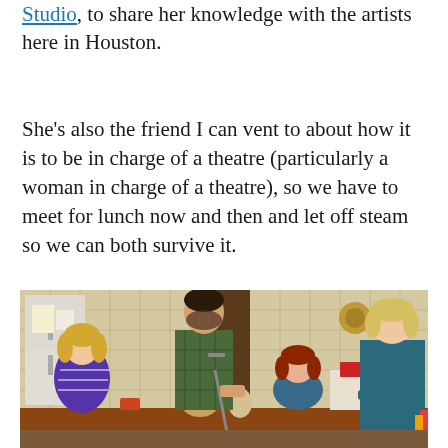Studio, to share her knowledge with the artists here in Houston.
She's also the friend I can vent to about how it is to be in charge of a theatre (particularly a woman in charge of a theatre), so we have to meet for lunch now and then and let off steam so we can both survive it.
[Figure (photo): Theatre production photo showing four actors on a kitchen stage set: a woman in a purple striped sweater on the left, a bearded man in a plaid shirt standing in the center leaning on a crutch, a woman with reddish hair seated at a table, and a blonde woman in a teal jacket on the right. The set features a retro-style kitchen with plaid wallpaper.]